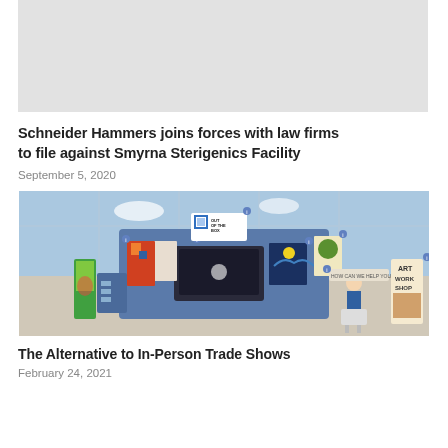[Figure (illustration): Top partial image - gray background placeholder]
Schneider Hammers joins forces with law firms to file against Smyrna Sterigenics Facility
September 5, 2020
[Figure (illustration): Virtual art trade show display with paintings, monitor, presenter, and Out of the Box logo]
The Alternative to In-Person Trade Shows
February 24, 2021